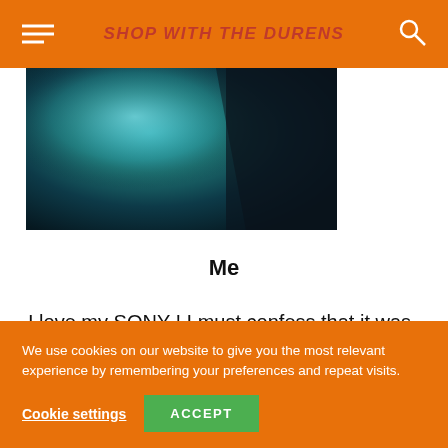SHOP WITH THE DURENS
[Figure (photo): Dark moody photo with teal and dark blue tones, appears to be a close-up of an object against a dark background]
Me
I love my SONY ! I must confess that it was not love at first sight after purchasing, why? Same week went back to the shop to return the phone
We use cookies on our website to give you the most relevant experience by remembering your preferences and repeat visits.
Cookie settings   ACCEPT